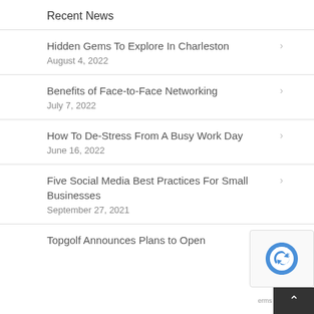Recent News
Hidden Gems To Explore In Charleston
August 4, 2022
Benefits of Face-to-Face Networking
July 7, 2022
How To De-Stress From A Busy Work Day
June 16, 2022
Five Social Media Best Practices For Small Businesses
September 27, 2021
Topgolf Announces Plans to Open